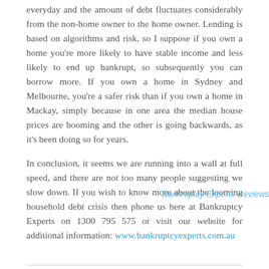everyday and the amount of debt fluctuates considerably from the non-home owner to the home owner. Lending is based on algorithms and risk, so I suppose if you own a home you're more likely to have stable income and less likely to end up bankrupt, so subsequently you can borrow more. If you own a home in Sydney and Melbourne, you're a safer risk than if you own a home in Mackay, simply because in one area the median house prices are booming and the other is going backwards, as it's been doing so for years.
In conclusion, it seems we are running into a wall at full speed, and there are not too many people suggesting we slow down. If you wish to know more about the looming household debt crisis then phone us here at Bankruptcy Experts on 1300 795 575 or visit our website for additional information: www.bankruptcyexperts.com.au